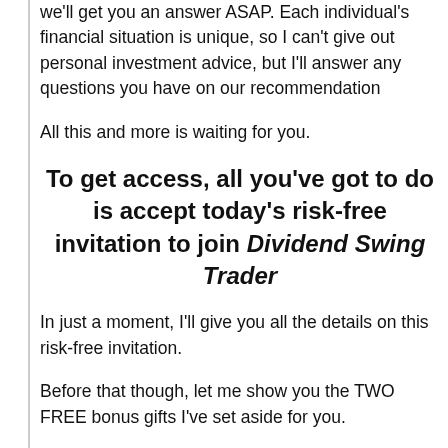we'll get you an answer ASAP. Each individual's financial situation is unique, so I can't give out personal investment advice, but I'll answer any questions you have on our recommendation
All this and more is waiting for you.
To get access, all you've got to do is accept today's risk-free invitation to join Dividend Swing Trader
In just a moment, I'll give you all the details on this risk-free invitation.
Before that though, let me show you the TWO FREE bonus gifts I've set aside for you.
Each of these bonus gifts was selected to h